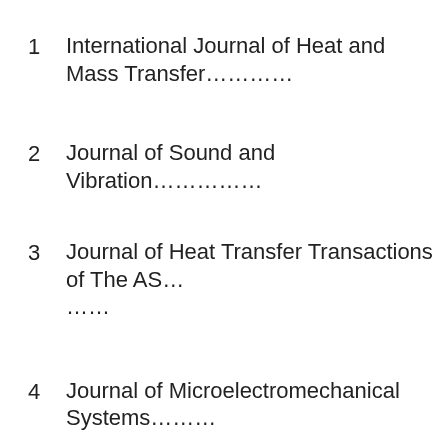1   International Journal of Heat and Mass Transfer…
2   Journal of Sound and Vibration……………
3   Journal of Heat Transfer Transactions of The AS… ……
4   Journal of Microelectromechanical Systems………
5   Proceedings of The Combustion Institute…………